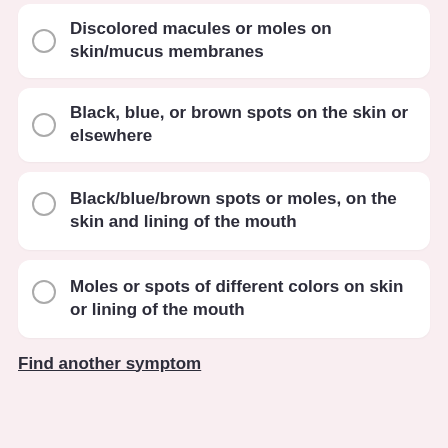Discolored macules or moles on skin/mucus membranes
Black, blue, or brown spots on the skin or elsewhere
Black/blue/brown spots or moles, on the skin and lining of the mouth
Moles or spots of different colors on skin or lining of the mouth
Find another symptom